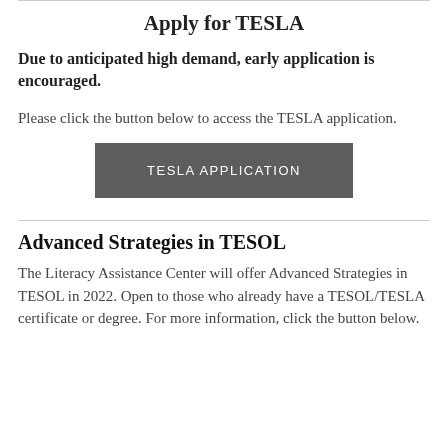Apply for TESLA
Due to anticipated high demand, early application is encouraged.
Please click the button below to access the TESLA application.
[Figure (other): Button labeled TESLA APPLICATION in dark gray]
Advanced Strategies in TESOL
The Literacy Assistance Center will offer Advanced Strategies in TESOL in 2022. Open to those who already have a TESOL/TESLA certificate or degree. For more information, click the button below.